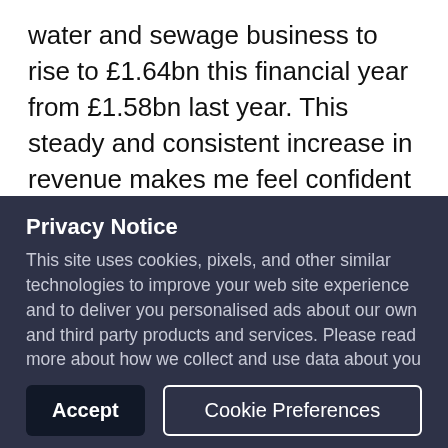water and sewage business to rise to £1.64bn this financial year from £1.58bn last year. This steady and consistent increase in revenue makes me feel confident about investing in this stock for
Privacy Notice
This site uses cookies, pixels, and other similar technologies to improve your web site experience and to deliver you personalised ads about our own and third party products and services. Please read more about how we collect and use data about you in this way in our Cookies Statement in our Privacy Policy. You can change your cookie settings in your browser at any time.